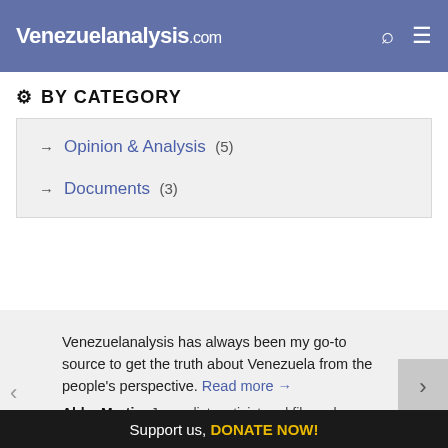Venezuelanalysis.com
BY CATEGORY
Opinion & Analysis (5)
Documents (3)
Venezuelanalysis has always been my go-to source to get the truth about Venezuela from the people's perspective. Read more →
Abby Martin. Journalist, activist and filmmaker
Support us
Support us, DONATE NOW!